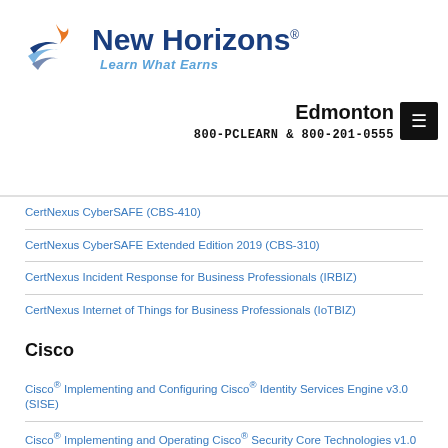[Figure (logo): New Horizons logo with stylized arrow/wing icon, blue text 'New Horizons' and tagline 'Learn What Earns']
Edmonton
800-PCLEARN  & 800-201-0555
CertNexus CyberSAFE (CBS-410)
CertNexus CyberSAFE Extended Edition 2019 (CBS-310)
CertNexus Incident Response for Business Professionals (IRBIZ)
CertNexus Internet of Things for Business Professionals (IoTBIZ)
Cisco
Cisco® Implementing and Configuring Cisco® Identity Services Engine v3.0 (SISE)
Cisco® Implementing and Operating Cisco® Security Core Technologies v1.0 (SCOR)
Cisco® Implementing Automation for Cisco® Security Solutions v1.0 (SAUI)